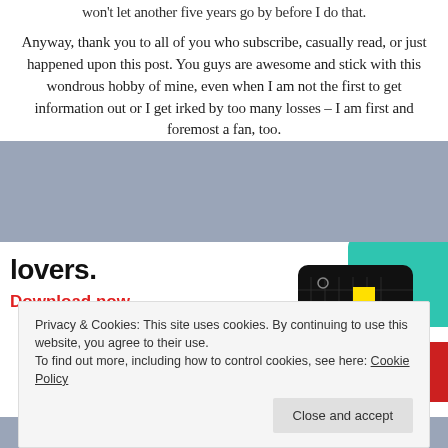won't let another five years go by before I do that.
Anyway, thank you to all of you who subscribe, casually read, or just happened upon this post. You guys are awesome and stick with this wondrous hobby of mine, even when I am not the first to get information out or I get irked by too many losses – I am first and foremost a fan, too.
[Figure (infographic): Advertisement with bold text 'lovers.' and red 'Download now' link, alongside images of podcast app cards including '99% Invisible' and other podcast cards in teal, blue, and red.]
Privacy & Cookies: This site uses cookies. By continuing to use this website, you agree to their use.
To find out more, including how to control cookies, see here: Cookie Policy
Close and accept